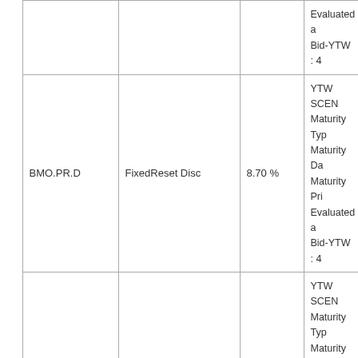|  | Ticker | Type | Rate | Info |
| --- | --- | --- | --- | --- |
|  |  |  |  | Evaluated a
Bid-YTW : 4 |
|  | BMO.PR.D | FixedReset Disc | 8.70 % | YTW SCEN
Maturity Typ
Maturity Da
Maturity Pri
Evaluated a
Bid-YTW : 4 |
|  | BAM.PR.R | FixedReset Disc | 8.75 % | YTW SCEN
Maturity Typ
Maturity Da
Maturity Pri
Evaluated a
Bid-YTW : 5 |
|  | TD.PF.D | FixedReset Disc | 8.99 % | YTW SCEN
Maturity Typ
Maturity Da
Maturity Pri
Evaluated a
Bid-YTW : 4 |
|  | TD.PF.L | FixedReset Disc | 9.30 % | YTW SCEN
Maturity Typ
Maturity Da
Maturity Pri
Evaluated a
Bid-YTW : |